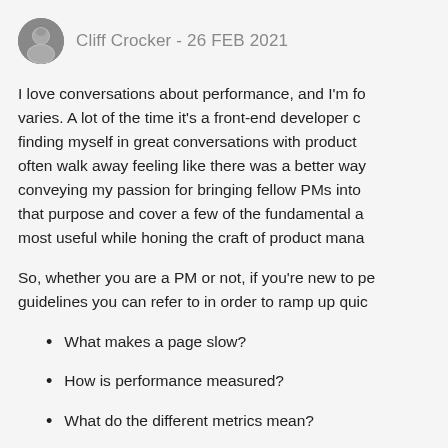Cliff Crocker - 26 FEB 2021
I love conversations about performance, and I'm fo varies. A lot of the time it's a front-end developer c finding myself in great conversations with product often walk away feeling like there was a better way conveying my passion for bringing fellow PMs into that purpose and cover a few of the fundamental a most useful while honing the craft of product mana
So, whether you are a PM or not, if you're new to pe guidelines you can refer to in order to ramp up quic
What makes a page slow?
How is performance measured?
What do the different metrics mean?